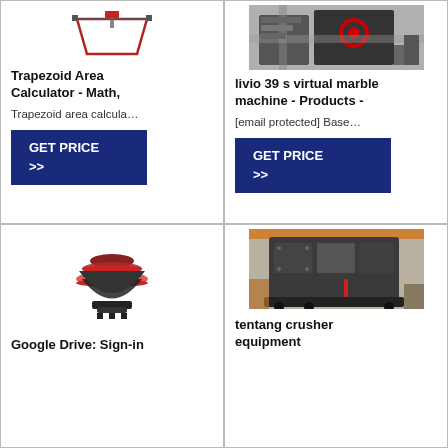[Figure (illustration): Trapezoid area calculator icon/diagram - small geometric figure]
Trapezoid Area Calculator - Math,
Trapezoid area calcula…
GET PRICE >>
[Figure (photo): Industrial crushing/marble machine with red circular component, industrial setting]
livio 39 s virtual marble machine - Products -
[email protected] Base…
GET PRICE >>
[Figure (illustration): Cone crusher machine - red and dark industrial equipment illustration]
Google Drive: Sign-in
[Figure (photo): Large industrial crusher equipment in a warehouse/factory setting, dark grey machinery]
tentang crusher equipment